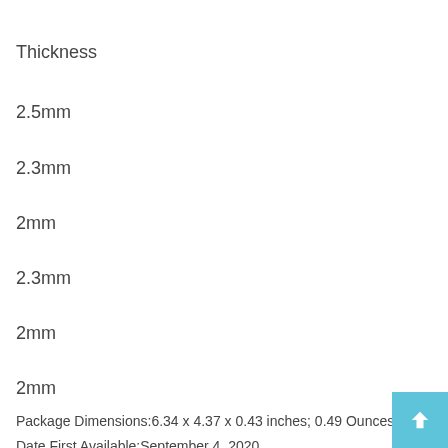Thickness
2.5mm
2.3mm
2mm
2.3mm
2mm
2mm
Package Dimensions:6.34 x 4.37 x 0.43 inches; 0.49 Ounces
Date First Available:September 4, 2020